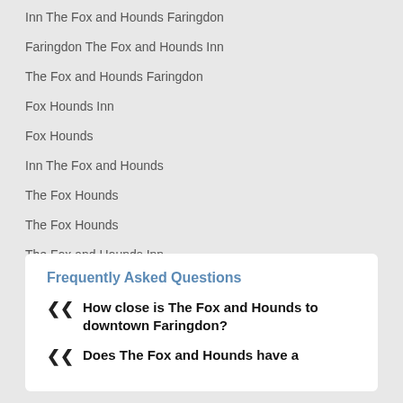Inn The Fox and Hounds Faringdon
Faringdon The Fox and Hounds Inn
The Fox and Hounds Faringdon
Fox Hounds Inn
Fox Hounds
Inn The Fox and Hounds
The Fox Hounds
The Fox Hounds
The Fox and Hounds Inn
The Fox and Hounds Faringdon
The Fox and Hounds Inn Faringdon
Frequently Asked Questions
How close is The Fox and Hounds to downtown Faringdon?
Does The Fox and Hounds have a